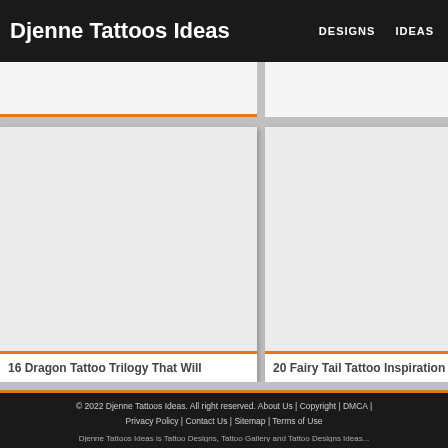Djenne Tattoos Ideas | DESIGNS | IDEAS
[Figure (screenshot): Two website card thumbnails partially visible at top: left card partially cut off, right card partially cut off with orange bottom border]
[Figure (screenshot): Two website article cards with white background and orange bottom border. Left card: '16 Dragon Tattoo Trilogy That Will', Right card: '20 Fairy Tail Tattoo Inspiration F...']
16 Dragon Tattoo Trilogy That Will
20 Fairy Tail Tattoo Inspiration F...
© 2022 Djenne Tattoos Ideas. All right reserved. About Us | Copyright | DMCA | Privacy Policy | Contact Us | Sitemap | Terms of Use
Djenne Tattoos Ideas is Tattoo Designs, Tattoo Gallery and Tattoo Designs Ideas